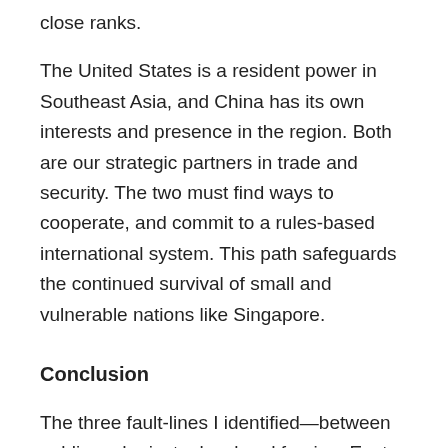close ranks.
The United States is a resident power in Southeast Asia, and China has its own interests and presence in the region. Both are our strategic partners in trade and security. The two must find ways to cooperate, and commit to a rules-based international system. This path safeguards the continued survival of small and vulnerable nations like Singapore.
Conclusion
The three fault-lines I identified—between public and private, local and foreign, East and West—can all be seen as symptoms of Singapore's growing pains or the reality of the times. They are visible manifestations of deeper transitions taking place as the country enters a new phase of its history. On one